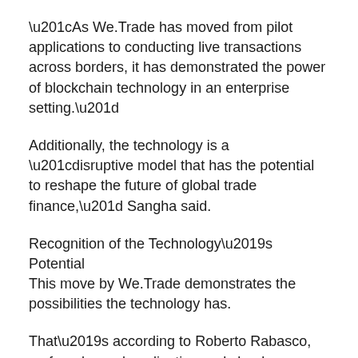“As We.Trade has moved from pilot applications to conducting live transactions across borders, it has demonstrated the power of blockchain technology in an enterprise setting.”
Additionally, the technology is a “disruptive model that has the potential to reshape the future of global trade finance,” Sangha said.
Recognition of the Technology’s Potential
This move by We.Trade demonstrates the possibilities the technology has.
That’s according to Roberto Rabasco, co-founder and application and cloud technology expert at Orvium, an open-source, decentralised framework for managing scholarly publications.